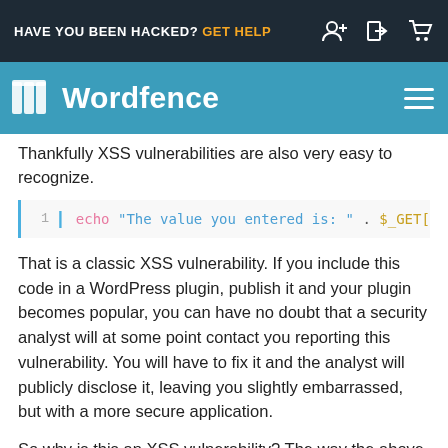HAVE YOU BEEN HACKED? GET HELP
[Figure (logo): Wordfence logo and brand bar with navigation hamburger icon]
you simply write PHP in a way that feels intuitive, you will inadvertently introduce an XSS vulnerability into your code. Thankfully XSS vulnerabilities are also very easy to recognize.
1  echo "The value you entered is: " . $_GET['v
That is a classic XSS vulnerability. If you include this code in a WordPress plugin, publish it and your plugin becomes popular, you can have no doubt that a security analyst will at some point contact you reporting this vulnerability. You will have to fix it and the analyst will publicly disclose it, leaving you slightly embarrassed, but with a more secure application.
So why is this an XSS vulnerability? The way the above code works is it grabs a value from the URL and writes it back to the browser, unvalidated and unfiltered. If your application is hosted at https://example.com/test.php a site